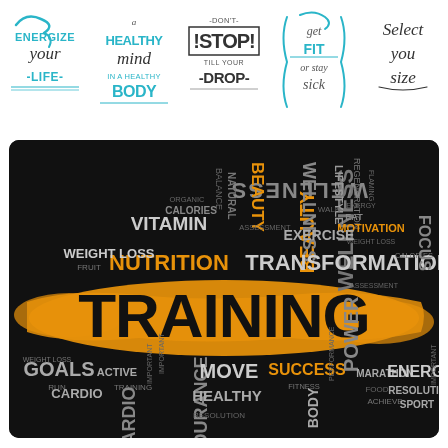[Figure (illustration): Five fitness motivational slogans in decorative lettering: 'Energize Your Life', 'A Healthy Mind in a Healthy Body', 'Don't Stop Till Your Drop', 'Get Fit or Stay Sick', 'Select You Size']
[Figure (infographic): Fitness/training word cloud on black background with orange 'TRAINING' text on paint brush stroke. Words include: WELLNESS, BEAUTY, NUTRITION, TRANSFORMATION, FOCUS, VITAMIN, ENDURANCE, ENERGY, POWER, GOALS, MOVE, HEALTHY, SUCCESS, MARATHON, CARDIO, RESOLUTION, SPORT, and more.]